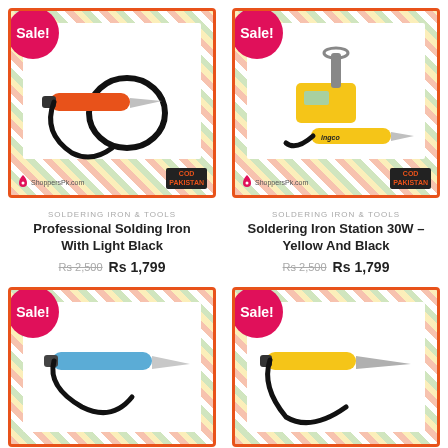[Figure (photo): Professional Solding Iron With Light Black - orange/black soldering iron with cord]
Sale!
SOLDERING IRON & TOOLS
Professional Solding Iron With Light Black
Rs 2,500  Rs 1,799
[Figure (photo): Soldering Iron Station 30W Yellow And Black - INGCO brand with stand]
Sale!
SOLDERING IRON & TOOLS
Soldering Iron Station 30W – Yellow And Black
Rs 2,500  Rs 1,799
[Figure (photo): Blue soldering iron with black cord, partial view]
Sale!
[Figure (photo): Yellow soldering iron with black cord, partial view]
Sale!